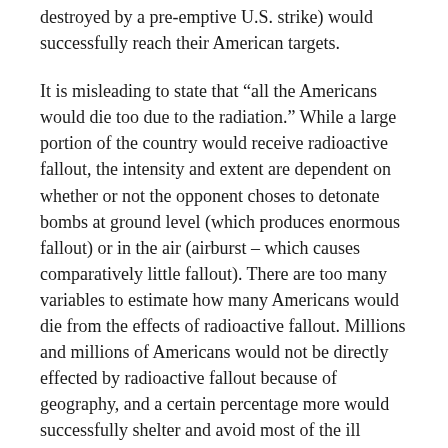destroyed by a pre-emptive U.S. strike) would successfully reach their American targets.
It is misleading to state that “all the Americans would die too due to the radiation.” While a large portion of the country would receive radioactive fallout, the intensity and extent are dependent on whether or not the opponent choses to detonate bombs at ground level (which produces enormous fallout) or in the air (airburst – which causes comparatively little fallout). There are too many variables to estimate how many Americans would die from the effects of radioactive fallout. Millions and millions of Americans would not be directly effected by radioactive fallout because of geography, and a certain percentage more would successfully shelter and avoid most of the ill effects.
Likewise, the extent of nuclear winter is also dependent on the amount of fallout produced. Airbursts inject infinitely less material into the atmosphere, which leads to less global cooling.
The likelihood of a preemptive first strike by the Russians or the Chinese is difficult to evaluate but it seems much more likely that a nuclear war would result by accident or because a